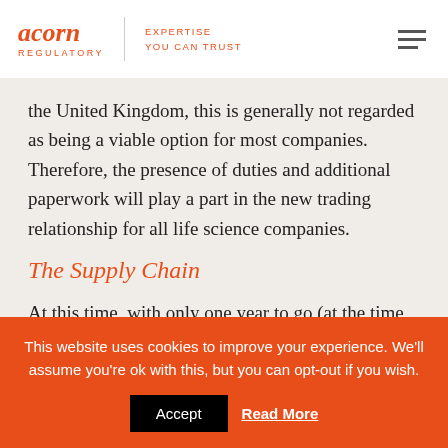acorn REGULATORY | EXPERTISE YOU CAN TRUST
the United Kingdom, this is generally not regarded as being a viable option for most companies.  Therefore, the presence of duties and additional paperwork will play a part in the new trading relationship for all life science companies.
The Supply Chain
At this time, with only one year to go (at the time of writing) until the UK departs from the EU and enters (or
This website uses cookies to improve your experience. We'll assume you're ok with this, but you can opt-out if you wish.
Accept   Read More